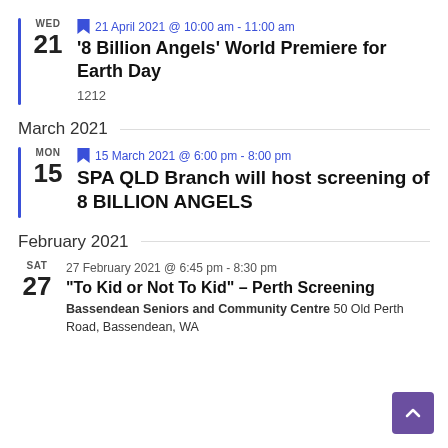WED 21 — 21 April 2021 @ 10:00 am - 11:00 am — '8 Billion Angels' World Premiere for Earth Day — 1212
March 2021
MON 15 — 15 March 2021 @ 6:00 pm - 8:00 pm — SPA QLD Branch will host screening of 8 BILLION ANGELS
February 2021
SAT 27 — 27 February 2021 @ 6:45 pm - 8:30 pm — "To Kid or Not To Kid" – Perth Screening — Bassendean Seniors and Community Centre 50 Old Perth Road, Bassendean, WA